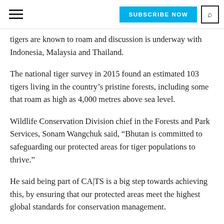SUBSCRIBE NOW | search
tigers are known to roam and discussion is underway with Indonesia, Malaysia and Thailand.
The national tiger survey in 2015 found an estimated 103 tigers living in the country's pristine forests, including some that roam as high as 4,000 metres above sea level.
Wildlife Conservation Division chief in the Forests and Park Services, Sonam Wangchuk said, “Bhutan is committed to safeguarding our protected areas for tiger populations to thrive.”
He said being part of CA|TS is a big step towards achieving this, by ensuring that our protected areas meet the highest global standards for conservation management.
CA|TS is a conservation tool which enables key tiger sites to be effectively managed. These include existing tiger